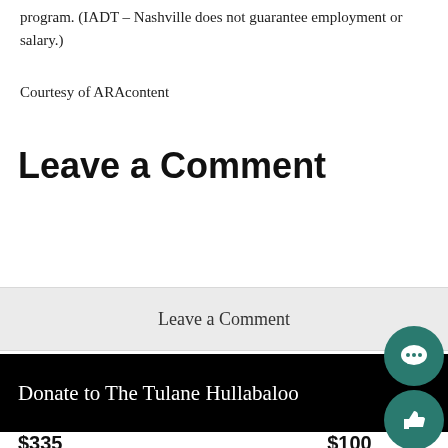program. (IADT – Nashville does not guarantee employment or salary.)
Courtesy of ARAcontent
Leave a Comment
Leave a Comment
Donate to The Tulane Hullabaloo
$335 Contributed
$100 Our Goal